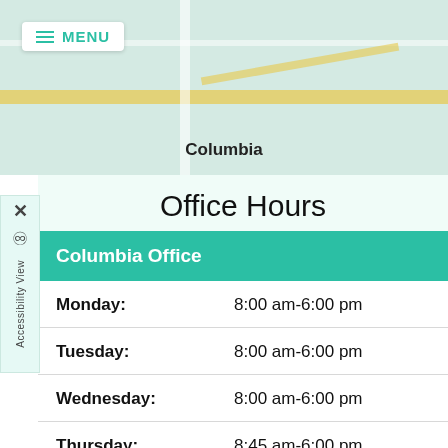[Figure (map): Street map background showing Columbia area with road grid]
MENU
Columbia
Office Hours
Columbia Office
| Day | Hours |
| --- | --- |
| Monday: | 8:00 am-6:00 pm |
| Tuesday: | 8:00 am-6:00 pm |
| Wednesday: | 8:00 am-6:00 pm |
| Thursday: | 8:45 am-6:00 pm |
| Friday: | 8:00 am-6:00 pm |